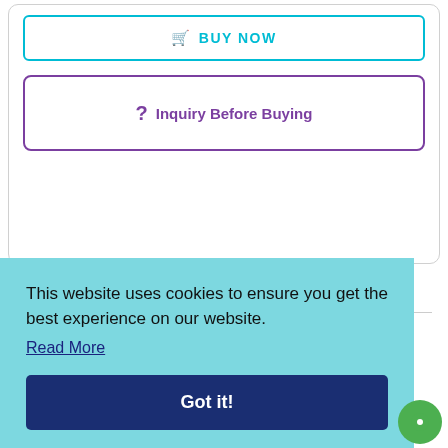BUY NOW
? Inquiry Before Buying
Recently Viewed Reports
Oryzenin Market
This website uses cookies to ensure you get the best experience on our website.
Read More
Got it!